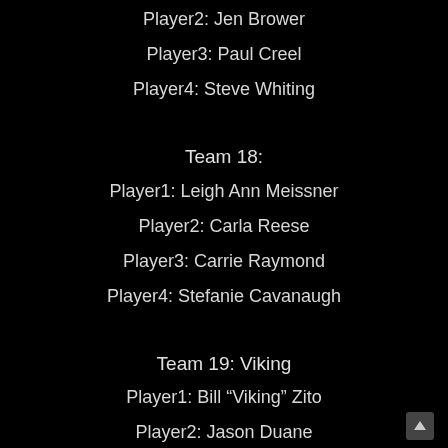Player2: Jen Brower
Player3: Paul Creel
Player4: Steve Whiting
Team 18:
Player1: Leigh Ann Meissner
Player2: Carla Reese
Player3: Carrie Raymond
Player4: Stefanie Cavanaugh
Team 19: Viking
Player1: Bill “Viking” Zito
Player2: Jason Duane
Player3: Bruce “Hawk” Kingsley